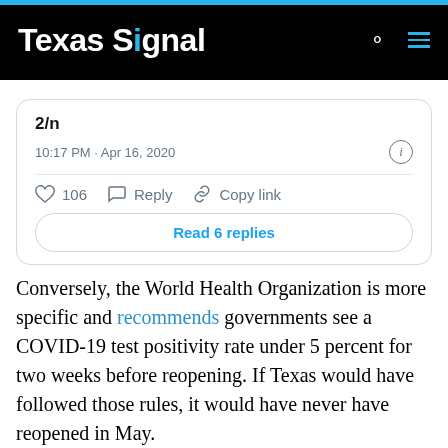Texas Signal
2/n
10:17 PM · Apr 16, 2020
106  Reply  Copy link
Read 6 replies
Conversely, the World Health Organization is more specific and recommends governments see a COVID-19 test positivity rate under 5 percent for two weeks before reopening. If Texas would have followed those rules, it would have never have reopened in May.